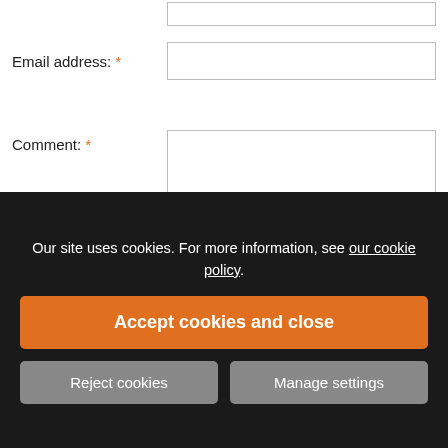Email address: *
Comment: *
I have read your privacy policy and consent to my name and comment being published on your site
Our site uses cookies. For more information, see our cookie policy.
Accept cookies and close
Reject cookies
Manage settings